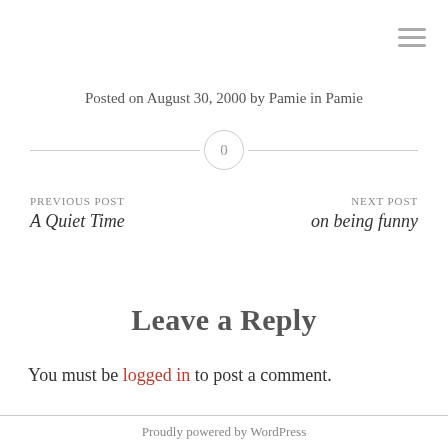Posted on August 30, 2000 by Pamie in Pamie
0
PREVIOUS POST
A Quiet Time
NEXT POST
on being funny
Leave a Reply
You must be logged in to post a comment.
Proudly powered by WordPress
Theme: Scrawl by WordPress.com.